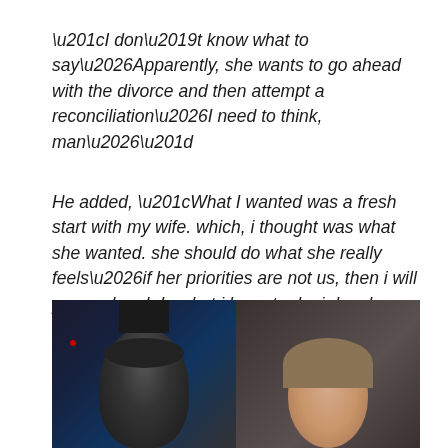“I don’t know what to say…Apparently, she wants to go ahead with the divorce and then attempt a reconciliation…I need to think, man…”
He added, “What I wanted was a fresh start with my wife. which, i thought was what she wanted. she should do what she really feels…if her priorities are not us, then i will proceed and do what i have to do. i dangle no more.”
[Figure (photo): Two side-by-side photos: left shows a person wearing a dark cap/hat in a dark setting with a red light visible; right shows a woman with light brown hair against a dark background.]